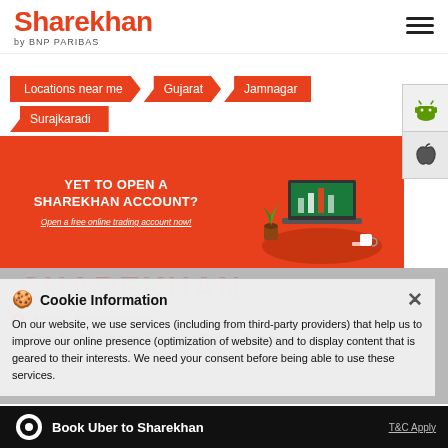Sharekhan by BNP PARIBAS
Locations near me > Gujarat > Jamnagar
Surajkaradi
[Figure (screenshot): Promotional banner: YET TO OPEN A SHAREKHAN ACCOUNT? Open a free online trading account now! with illustration of laptop and trading setup on orange background.]
Cookie Information
On our website, we use services (including from third-party providers) that help us to improve our online presence (optimization of website) and to display content that is geared to their interests. We need your consent before being able to use these services.
SHAREKHAN
Sunny Jitendra Baral
Shop No 90, Vinayak Shopping Centre, Rudra
Book Uber to Sharekhan   T&C Apply